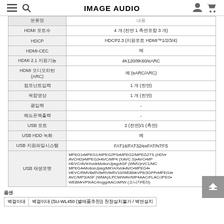IMAGE AUDIO
| 속성 | 값 |
| --- | --- |
| HDMI 포트수 | 4 개 (전면 1 측면포함 3 개) |
| HDCP | HDCP2.3 (지원포트 HDMI™1/2/3/4) |
| HDMI-CEC | 예 |
| HDMI 2.1 지원기능 | 4K120/8K60/eARC |
| HDMI 오디오리턴(ARC) | 예 (eARC/ARC) |
| 컴포넌트입력 | 1 개 (전면) |
| 복합영상 | 1 개 (전면) |
| 광입력 | - |
| 헤드폰잭출력 | - |
| USB 포트 | 2 (전면)/1 (측면) |
| USB HDD 녹화 | 예 |
| USB 지원파일시스템 | FAT16/FAT32/exFAT/NTFS |
| USB 재생포맷 | MPEG1▪MPEG1/MPEG2PS▪MPEG2/MPEG2TS (HDV▪AVCHD)▪MPEG2▪AVC/MP4 (XAVC S)▪AVC▪MP▪HEVC/AVI▪Xvid▪MotionJpeg/ASF (WMV)▪VC1/MC▪MPEG4▪MotionJpeg/MKV▪Xvid▪AVC▪MPEG4▪▪HEVC/RMVB▪RV8▪RV9▪RV10/WEBM▪VP8/3GPP▪MPEG4▪AVC/MP3/ASF (WMA)/LPCM/WAV/MP4AAC/FLAC/JPEG▪WEBM▪VP9/AC4/ogg/AAC/ARW (소니카메라) |
옵션
| 옵션명 | 설명 |
| --- | --- |
| 벽걸이대 | 벽걸이대 (SU-WL450 (별매품추천)) 천장설치불가 / 벽면설치 |